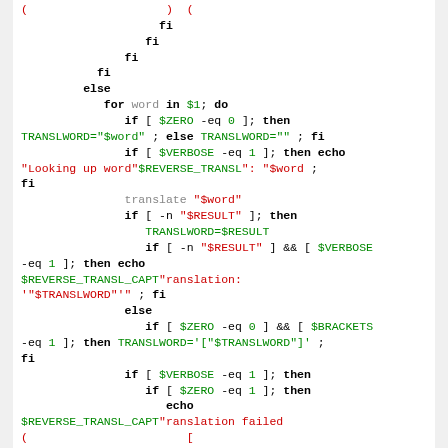Shell script code snippet showing conditional logic with fi, else, for, if constructs and variables like $ZERO, $VERBOSE, $RESULT, $BRACKETS, $TRANSLWORD, $REVERSE_TRANSL, $REVERSE_TRANSL_CAPT